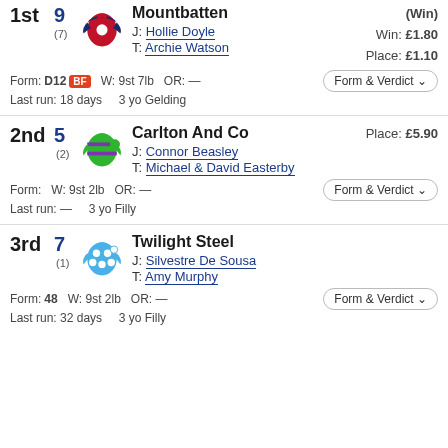1st 9 Mountbatten — J: Hollie Doyle T: Archie Watson Win: £1.80 Place: £1.10 Form: D12 BF Last run: 18 days W: 9st 7lb OR: — 3 yo Gelding
2nd 5 Carlton And Co — J: Connor Beasley T: Michael & David Easterby Place: £5.90 Form: Last run: — W: 9st 2lb OR: — 3 yo Filly
3rd 7 Twilight Steel — J: Silvestre De Sousa T: Amy Murphy Form: 48 Last run: 32 days W: 9st 2lb OR: — 3 yo Filly